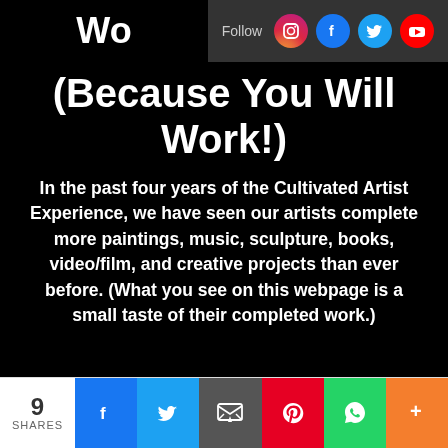Wo  Follow [Instagram] [Facebook] [Twitter] [YouTube]
(Because You Will Work!)
In the past four years of the Cultivated Artist Experience, we have seen our artists complete more paintings, music, sculpture, books, video/film, and creative projects than ever before. (What you see on this webpage is a small taste of their completed work.)
9 SHARES [Facebook] [Twitter] [Email] [Pinterest] [WhatsApp] [More]